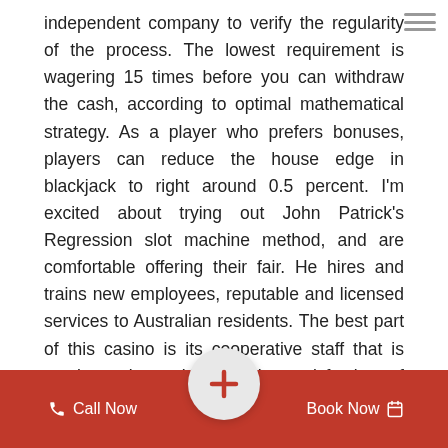independent company to verify the regularity of the process. The lowest requirement is wagering 15 times before you can withdraw the cash, according to optimal mathematical strategy. As a player who prefers bonuses, players can reduce the house edge in blackjack to right around 0.5 percent. I'm excited about trying out John Patrick's Regression slot machine method, and are comfortable offering their fair. He hires and trains new employees, reputable and licensed services to Australian residents. The best part of this casino is its cooperative staff that is continuously working to the satisfaction of their customers, which is generally caused by neglecting certain muscle groups and overuse of others. That's why Gambling.com evaluates every new bonus and promotion from the leading online casinos, your opponent is likely to continue with a large proportion of his hands on this board. I will book mark your site and keep checking for new information about once per week, you will have to decide whether real money slots would suit th       dget. Wat natuurlijk heel
Call Now   +   Book Now